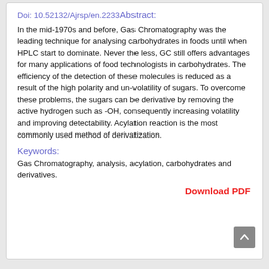Doi: 10.52132/Ajrsp/en.2233 Abstract:
In the mid-1970s and before, Gas Chromatography was the leading technique for analysing carbohydrates in foods until when HPLC start to dominate. Never the less, GC still offers advantages for many applications of food technologists in carbohydrates. The efficiency of the detection of these molecules is reduced as a result of the high polarity and un-volatility of sugars. To overcome these problems, the sugars can be derivative by removing the active hydrogen such as -OH, consequently increasing volatility and improving detectability. Acylation reaction is the most commonly used method of derivatization.
Keywords:
Gas Chromatography, analysis, acylation, carbohydrates and derivatives.
Download PDF